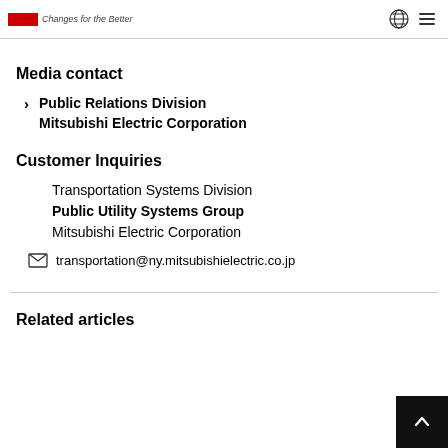Changes for the Better
Media contact
Public Relations Division
Mitsubishi Electric Corporation
Customer Inquiries
Transportation Systems Division
Public Utility Systems Group
Mitsubishi Electric Corporation
transportation@ny.mitsubishielectric.co.jp
Related articles